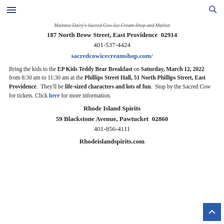≡  🔍
Maintoe Dairy's Sacred Cow Ice Cream Shop and Market
187 North Brow Street, East Providence  02914
401-537-4424
sacredcowicecreamshop.com/
Bring the kids to the EP Kids Teddy Bear Breakfast on Saturday, March 12, 2022 from 8:30 am to 11:30 am at the Phillips Street Hall, 51 North Phillips Street, East Providence.  They'll be life-sized characters and lots of fun.  Stop by the Sacred Cow for tickets. Click here for more information.
Rhode Island Spirits
59 Blackstone Avenue, Pawtucket  02860
401-856-4111
Rhodeislandspirits.com